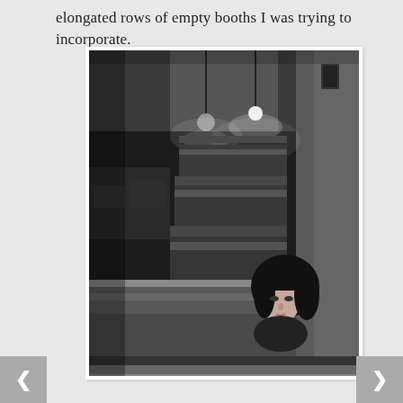elongated rows of empty booths I was trying to incorporate.
[Figure (photo): Black and white photograph of a young woman with dark hair and bangs sitting alone in a diner booth, surrounded by elongated rows of empty leather booths receding into the background, with pendant lights hanging from the ceiling.]